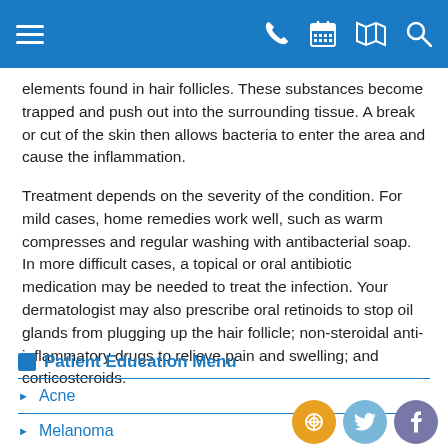Header navigation bar with hamburger menu, phone, calendar, map, and search icons
elements found in hair follicles. These substances become trapped and push out into the surrounding tissue. A break or cut of the skin then allows bacteria to enter the area and cause the inflammation.
Treatment depends on the severity of the condition. For mild cases, home remedies work well, such as warm compresses and regular washing with antibacterial soap. In more difficult cases, a topical or oral antibiotic medication may be needed to treat the infection. Your dermatologist may also prescribe oral retinoids to stop oil glands from plugging up the hair follicle; non-steroidal anti-inflammatory drugs to relieve pain and swelling; and corticosteroids.
Patient Education Menu
Acne
Melanoma
Skin Cancers